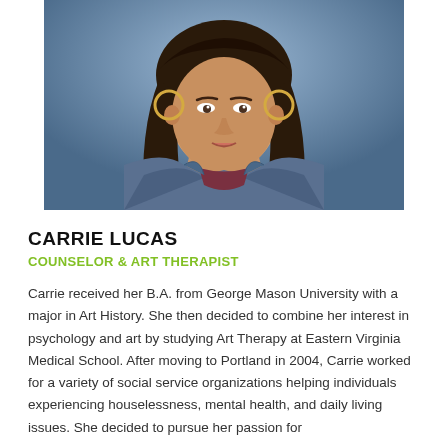[Figure (photo): Professional headshot portrait of Carrie Lucas, a woman with long dark wavy hair wearing a denim jacket over a dark red patterned shirt, photographed against a blue background]
CARRIE LUCAS
COUNSELOR & ART THERAPIST
Carrie received her B.A. from George Mason University with a major in Art History. She then decided to combine her interest in psychology and art by studying Art Therapy at Eastern Virginia Medical School. After moving to Portland in 2004, Carrie worked for a variety of social service organizations helping individuals experiencing houselessness, mental health, and daily living issues. She decided to pursue her passion for